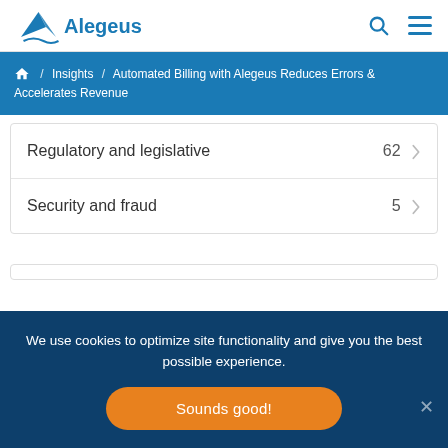Alegeus
/ Insights / Automated Billing with Alegeus Reduces Errors & Accelerates Revenue
| Category | Count |
| --- | --- |
| Regulatory and legislative | 62 |
| Security and fraud | 5 |
We use cookies to optimize site functionality and give you the best possible experience.